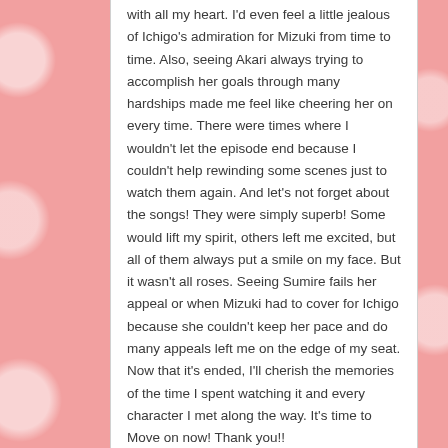with all my heart. I'd even feel a little jealous of Ichigo's admiration for Mizuki from time to time. Also, seeing Akari always trying to accomplish her goals through many hardships made me feel like cheering her on every time. There were times where I wouldn't let the episode end because I couldn't help rewinding some scenes just to watch them again. And let's not forget about the songs! They were simply superb! Some would lift my spirit, others left me excited, but all of them always put a smile on my face. But it wasn't all roses. Seeing Sumire fails her appeal or when Mizuki had to cover for Ichigo because she couldn't keep her pace and do many appeals left me on the edge of my seat. Now that it's ended, I'll cherish the memories of the time I spent watching it and every character I met along the way. It's time to Move on now! Thank you!!
Reply ↓